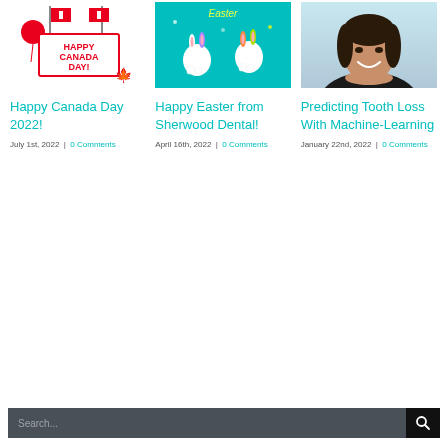[Figure (photo): Happy Canada Day illustration with Canadian flags, balloons, and red text]
[Figure (illustration): Happy Easter from Sherwood Dental - cartoon tooth characters with bunny ears on teal background]
[Figure (photo): Young woman smiling, resting chin on hands]
Happy Canada Day 2022!
July 1st, 2022  |  0 Comments
Happy Easter from Sherwood Dental!
April 16th, 2022  |  0 Comments
Predicting Tooth Loss With Machine-Learning
January 22nd, 2022  |  0 Comments